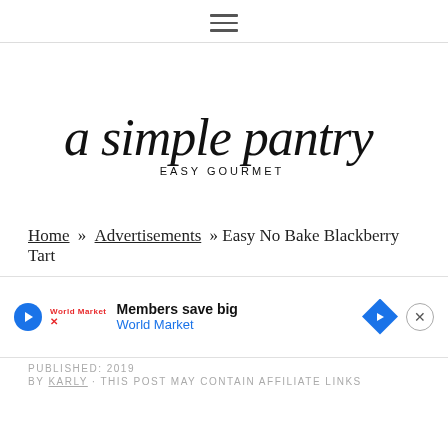≡ (hamburger menu icon)
[Figure (logo): A Simple Pantry EASY GOURMET logo in cursive script]
Home » Advertisements » Easy No Bake Blackberry Tart
[Figure (infographic): Advertisement banner: Members save big - World Market]
PUBLISHED: 2019
BY KARLY · THIS POST MAY CONTAIN AFFILIATE LINKS